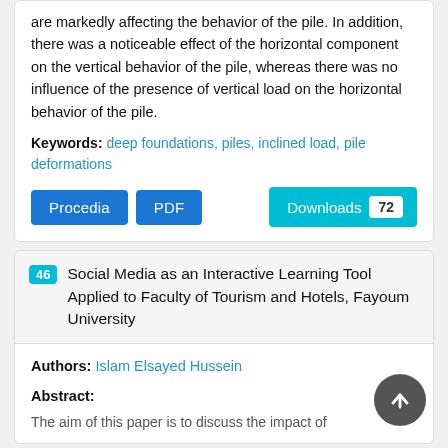are markedly affecting the behavior of the pile. In addition, there was a noticeable effect of the horizontal component on the vertical behavior of the pile, whereas there was no influence of the presence of vertical load on the horizontal behavior of the pile.
Keywords: deep foundations, piles, inclined load, pile deformations
Procedia  PDF  Downloads 72
46 Social Media as an Interactive Learning Tool Applied to Faculty of Tourism and Hotels, Fayoum University
Authors: Islam Elsayed Hussein
Abstract:
The aim of this paper is to discuss the impact of